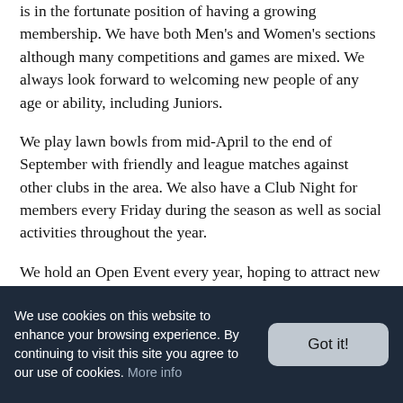is in the fortunate position of having a growing membership. We have both Men's and Women's sections although many competitions and games are mixed. We always look forward to welcoming new people of any age or ability, including Juniors.
We play lawn bowls from mid-April to the end of September with friendly and league matches against other clubs in the area. We also have a Club Night for members every Friday during the season as well as social activities throughout the year.
We hold an Open Event every year, hoping to attract new people to the sport and thanks to widespread television coverage it is no longer considered to be "Old Men's Marbles". This is the ideal time for novice and experienced bowlers to try out their bowling skills. Come along to meet our qualified coaches, play bowls, have a chat and see how you get on.  We will supply all equipment. Please just wear flat soled shoes (trainers are
We use cookies on this website to enhance your browsing experience. By continuing to visit this site you agree to our use of cookies. More info